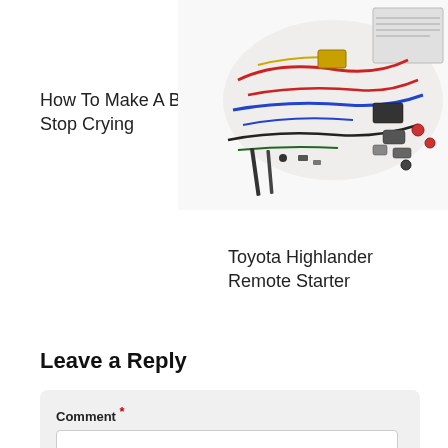How To Make A Baby Stop Crying
[Figure (photo): Photo of a car remote starter kit with wires, connectors, and components spread out on a white background, with a manual booklet visible.]
Toyota Highlander Remote Starter
Leave a Reply
Comment * [text area] Name * Email *